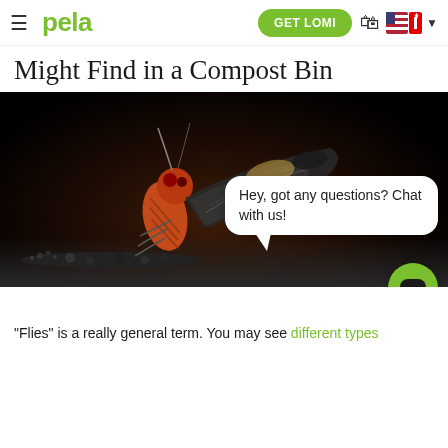pela — GET LOMI
Might Find in a Compost Bin
[Figure (photo): Close-up macro photograph of an insect with patterned wings (possibly a fly or leafhopper) on a dark background, with a chat bubble overlay saying 'Hey, got any questions? Chat with us!' and a green chat button in the lower right.]
"Flies" is a really general term. You may see different types